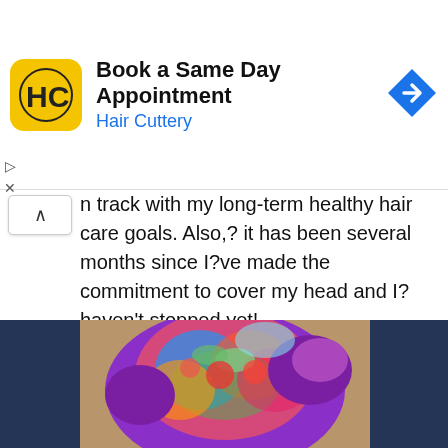[Figure (logo): Hair Cuttery advertisement banner with yellow rounded square logo showing HC letters, bold text 'Book a Same Day Appointment', blue subtitle 'Hair Cuttery', and a blue diamond navigation arrow icon on the right.]
n track with my long-term healthy hair care goals. Also,? it has been several months since I?ve made the commitment to cover my head and I?haven't stopped yet!...
READ MORE →
[Figure (photo): Photo of a person wearing a colorful floral head wrap/turban in purple, red, blue, green and yellow colors, against a dark navy blue background.]